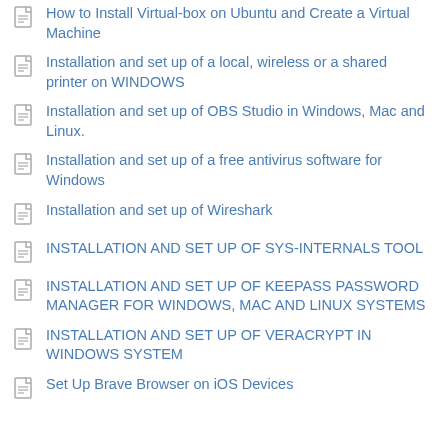How to Install Virtual-box on Ubuntu and Create a Virtual Machine
Installation and set up of a local, wireless or a shared printer on WINDOWS
Installation and set up of OBS Studio in Windows, Mac and Linux.
Installation and set up of a free antivirus software for Windows
Installation and set up of Wireshark
INSTALLATION AND SET UP OF SYS-INTERNALS TOOL
INSTALLATION AND SET UP OF KEEPASS PASSWORD MANAGER FOR WINDOWS, MAC AND LINUX SYSTEMS
INSTALLATION AND SET UP OF VERACRYPT IN WINDOWS SYSTEM
Set Up Brave Browser on iOS Devices